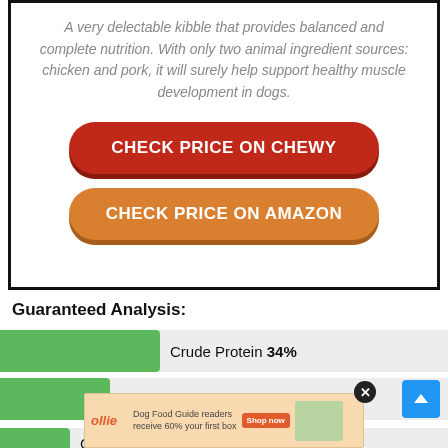A very delectable kibble that provides balanced and complete nutrition. With only two animal ingredient sources: chicken and pork, it will surely help support healthy muscle development in dogs.
CHECK PRICE ON CHEWY
CHECK PRICE ON AMAZON
Guaranteed Analysis:
[Figure (infographic): Horizontal bar chart showing Crude Protein 34%, Crude Fat 17%, and a partially visible third bar]
[Figure (other): Ad banner: ollie Dog Food Guide readers receive 60% your first box, Shop now button, food image, close button]